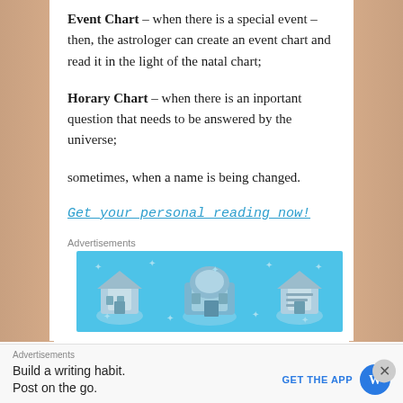Event Chart – when there is a special event – then, the astrologer can create an event chart and read it in the light of the natal chart;
Horary Chart – when there is an inportant question that needs to be answered by the universe;
sometimes, when a name is being changed.
Get your personal reading now!
[Figure (infographic): Advertisements banner: light blue background with three circular icons (buildings/structures) and star/sparkle decorations]
Advertisements
Build a writing habit.
Post on the go.
GET THE APP [WordPress logo]